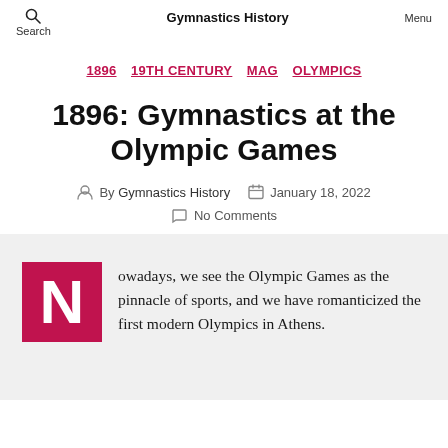Search  Gymnastics History  Menu
1896  19TH CENTURY  MAG  OLYMPICS
1896: Gymnastics at the Olympic Games
By Gymnastics History   January 18, 2022   No Comments
Nowadays, we see the Olympic Games as the pinnacle of sports, and we have romanticized the first modern Olympics in Athens.